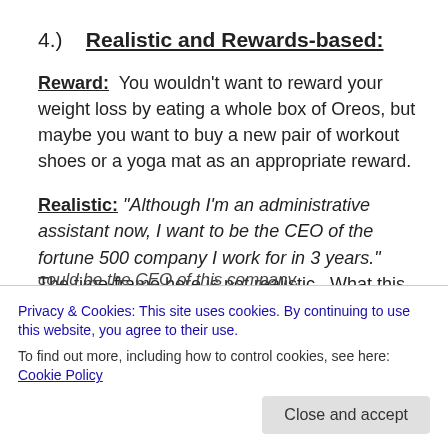4.)    Realistic and Rewards-based:
Reward:  You wouldn't want to reward your weight loss by eating a whole box of Oreos, but maybe you want to buy a new pair of workout shoes or a yoga mat as an appropriate reward.
Realistic:  "Although I'm an administrative assistant now, I want to be the CEO of the fortune 500 company I work for in 3 years."  The time-frame here is not realistic.  What this person could say is  "I want to find new ways to create
could be the CEO of this company.
Privacy & Cookies: This site uses cookies. By continuing to use this website, you agree to their use.
To find out more, including how to control cookies, see here: Cookie Policy